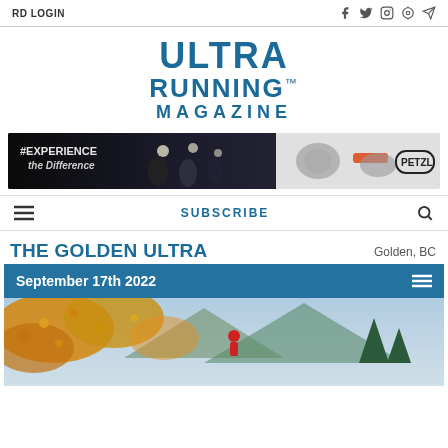RD LOGIN
ULTRA RUNNING. MAGAZINE
[Figure (photo): Petzl headlamp advertisement banner showing runners with headlamps at night and Petzl gear products. Text: #EXPERIENCE THE DIFFERENCE]
SUBSCRIBE
THE GOLDEN ULTRA
Golden, BC
September 17th 2022
[Figure (photo): A runner in a red shirt running through autumn foliage with mountains and trees in the background]